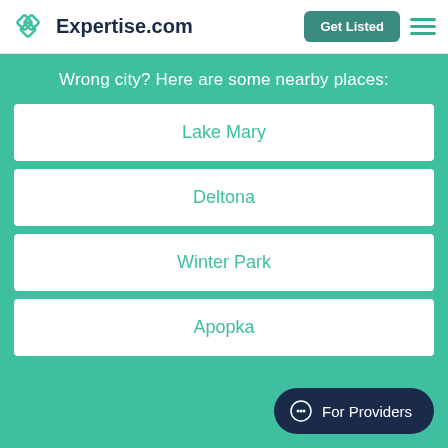Expertise.com | Get Listed
Wrong city? Here are some nearby places:
Lake Mary
Deltona
Winter Park
Apopka
For Providers